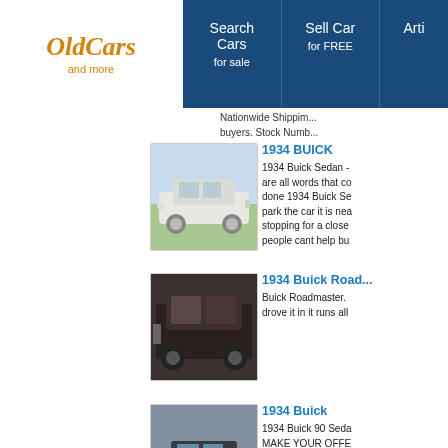OldCars and more | Search Cars for sale | Sell Car for FREE | Artic...
Nationwide Shipping buyers. Stock Numb...
[Figure (photo): 1934 Buick white classic sedan parked on grass]
1934 BUICK
1934 Buick Sedan - are all words that c... done 1934 Buick Se... park the car it is nea... stopping for a close... people cant help bu...
[Figure (photo): 1934 Buick Roadmaster interior/exterior dark vintage car]
1934 Buick Road...
Buick Roadmaster. drove it in it runs all...
[Figure (photo): 1934 Buick dark colored classic car front view]
1934 Buick
1934 Buick 90 Seda... MAKE YOUR OFFE... Cloth seats 100 mil...